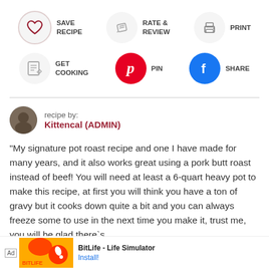[Figure (infographic): Recipe action buttons row 1: Save Recipe (heart icon), Rate & Review (pencil icon), Print (printer icon)]
[Figure (infographic): Recipe action buttons row 2: Get Cooking (checklist icon), Pin (Pinterest logo), Share (Facebook logo)]
recipe by:
Kittencal (ADMIN)
"My signature pot roast recipe and one I have made for many years, and it also works great using a pork butt roast instead of beef! You will need at least a 6-quart heavy pot to make this recipe, at first you will think you have a ton of gravy but it cooks down quite a bit and you can always freeze some to use in the next time you make it, trust me, you will be glad there`s lots, th... st a little pr... art it a
[Figure (screenshot): Ad banner: BitLife - Life Simulator with Install button]